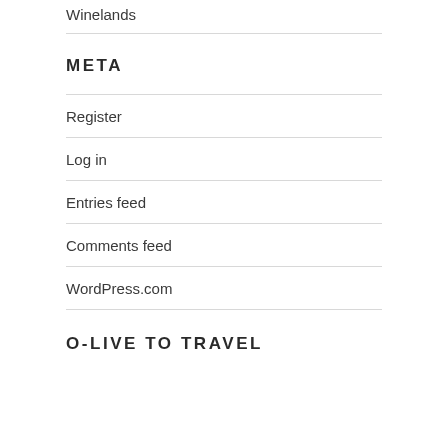Winelands
META
Register
Log in
Entries feed
Comments feed
WordPress.com
O-LIVE TO TRAVEL